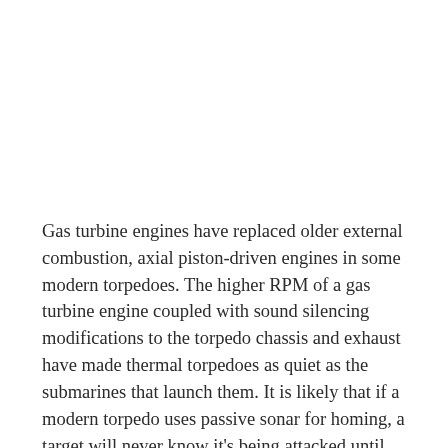Gas turbine engines have replaced older external combustion, axial piston-driven engines in some modern torpedoes. The higher RPM of a gas turbine engine coupled with sound silencing modifications to the torpedo chassis and exhaust have made thermal torpedoes as quiet as the submarines that launch them. It is likely that if a modern torpedo uses passive sonar for homing, a target will never know it's being attacked until just before it explodes.